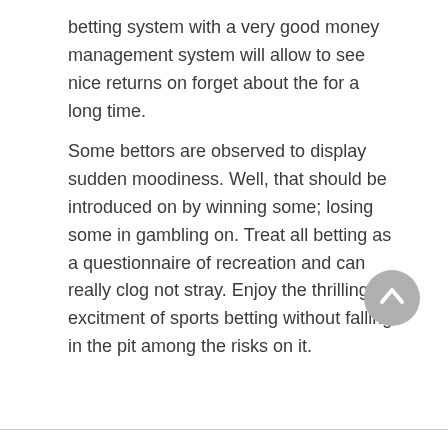betting system with a very good money management system will allow to see nice returns on forget about the for a long time.
Some bettors are observed to display sudden moodiness. Well, that should be introduced on by winning some; losing some in gambling on. Treat all betting as a questionnaire of recreation and can really clog not stray. Enjoy the thrilling excitment of sports betting without falling in the pit among the risks on it.